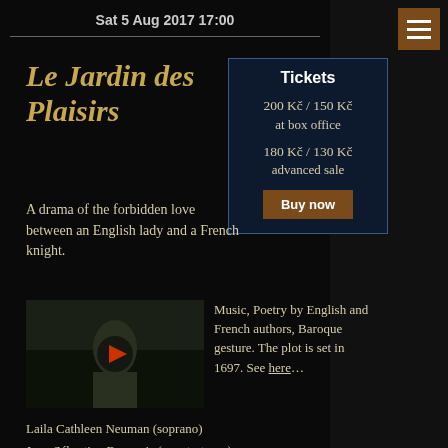Sat 5 Aug 2017 17:00
Le Jardin des Plaisirs
| Tickets |
| --- |
| 200 Kč / 150 Kč at box office |
| 180 Kč / 130 Kč advanced sale |
| Buy now |
A drama of the forbidden love between an English lady and a French knight.
[Figure (photo): Video thumbnail with play button showing a dark scene]
Music, Poetry by English and French authors, Baroque gesture. The plot is set in 1697. See here…
Laila Cathleen Neuman (soprano)
Jean-Sébastien Beauvais (countertenor)
Marta Kratochvílová (traverso)
Jan Čižmář (lute, narrator)
Marek Mokoš (staging)